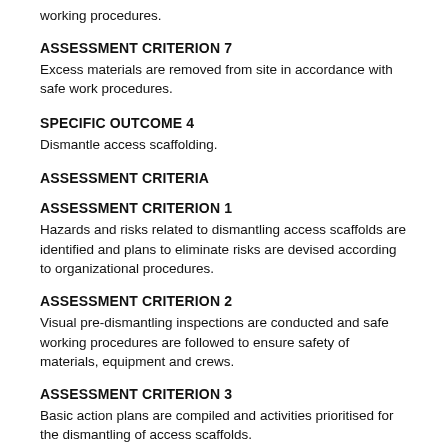working procedures.
ASSESSMENT CRITERION 7
Excess materials are removed from site in accordance with safe work procedures.
SPECIFIC OUTCOME 4
Dismantle access scaffolding.
ASSESSMENT CRITERIA
ASSESSMENT CRITERION 1
Hazards and risks related to dismantling access scaffolds are identified and plans to eliminate risks are devised according to organizational procedures.
ASSESSMENT CRITERION 2
Visual pre-dismantling inspections are conducted and safe working procedures are followed to ensure safety of materials, equipment and crews.
ASSESSMENT CRITERION 3
Basic action plans are compiled and activities prioritised for the dismantling of access scaffolds.
ASSESSMENT CRITERION 4
The dismantling sequence of access scaffolding is organised and work